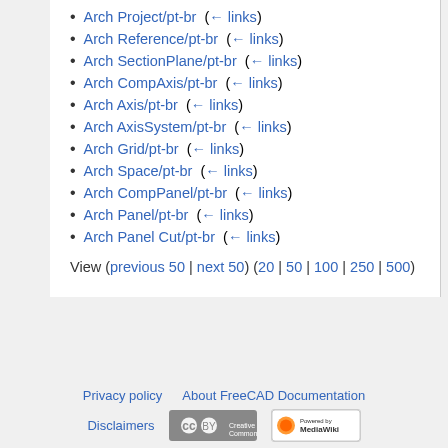Arch Project/pt-br  (← links)
Arch Reference/pt-br  (← links)
Arch SectionPlane/pt-br  (← links)
Arch CompAxis/pt-br  (← links)
Arch Axis/pt-br  (← links)
Arch AxisSystem/pt-br  (← links)
Arch Grid/pt-br  (← links)
Arch Space/pt-br  (← links)
Arch CompPanel/pt-br  (← links)
Arch Panel/pt-br  (← links)
Arch Panel Cut/pt-br  (← links)
View (previous 50 | next 50) (20 | 50 | 100 | 250 | 500)
Privacy policy  About FreeCAD Documentation  Disclaimers